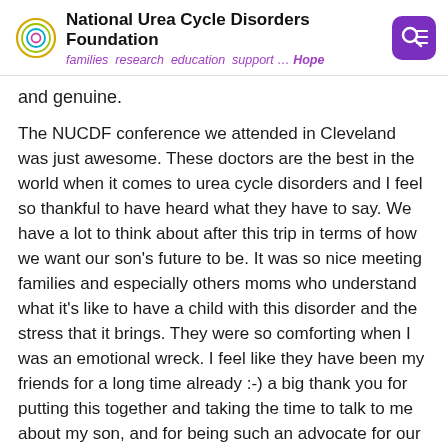National Urea Cycle Disorders Foundation — families research education support … Hope
and genuine.
The NUCDF conference we attended in Cleveland was just awesome. These doctors are the best in the world when it comes to urea cycle disorders and I feel so thankful to have heard what they have to say. We have a lot to think about after this trip in terms of how we want our son's future to be. It was so nice meeting families and especially others moms who understand what it's like to have a child with this disorder and the stress that it brings. They were so comforting when I was an emotional wreck. I feel like they have been my friends for a long time already :-) a big thank you for putting this together and taking the time to talk to me about my son, and for being such an advocate for our kids!!!!! We are